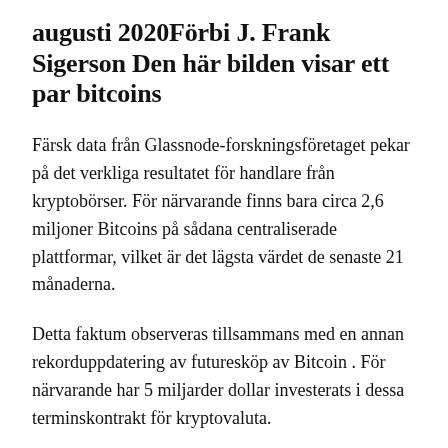augusti 2020Förbi J. Frank Sigerson Den här bilden visar ett par bitcoins
Färsk data från Glassnode-forskningsföretaget pekar på det verkliga resultatet för handlare från kryptobörser. För närvarande finns bara cirka 2,6 miljoner Bitcoins på sådana centraliserade plattformar, vilket är det lägsta värdet de senaste 21 månaderna.
Detta faktum observeras tillsammans med en annan rekorduppdatering av futuresköp av Bitcoin . För närvarande har 5 miljarder dollar investerats i dessa terminskontrakt för kryptovaluta.